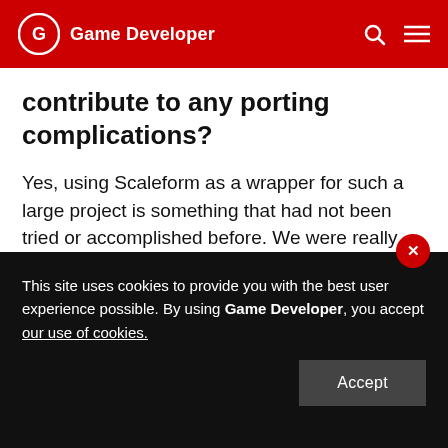Game Developer
contribute to any porting complications?
Yes, using Scaleform as a wrapper for such a large project is something that had not been tried or accomplished before. We were really pushing the boundaries of what Scaleform could handle in terms of complexity, scale, and performance. Fortunately, Autodesk has been helpful and responsive in dealing with issues.
The root cause of
This site uses cookies to provide you with the best user experience possible. By using Game Developer, you accept our use of cookies.